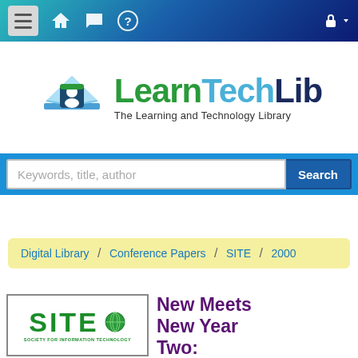[Figure (screenshot): Navigation bar with hamburger menu, home, chat, help icons and lock icon on teal-to-dark-blue gradient background]
[Figure (logo): LearnTechLib logo — open book icon with person silhouette, green and blue text reading LearnTechLib, The Learning and Technology Library]
Keywords, title, author
Search
Digital Library  /  Conference Papers  /  SITE  /  2000
[Figure (logo): SITE - Society for Information Technology logo in green with globe graphic]
New Meets New Year Two: